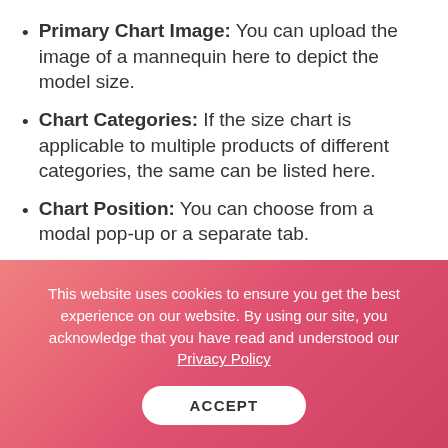Primary Chart Image: You can upload the image of a mannequin here to depict the model size.
Chart Categories: If the size chart is applicable to multiple products of different categories, the same can be listed here.
Chart Position: You can choose from a modal pop-up or a separate tab.
Chart Style: There are several ways to display the chart and you can select either of them as per your store theme
This website uses cookies to ensure you get the best experience on our website. By using our site, you acknowledge that you have read and understood our Privacy Policy
ACCEPT